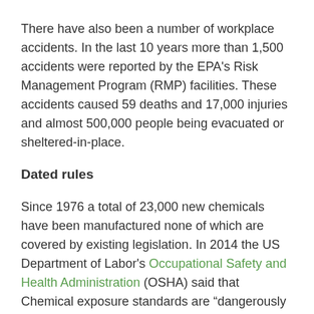There have also been a number of workplace accidents. In the last 10 years more than 1,500 accidents were reported by the EPA's Risk Management Program (RMP) facilities. These accidents caused 59 deaths and 17,000 injuries and almost 500,000 people being evacuated or sheltered-in-place.
Dated rules
Since 1976 a total of 23,000 new chemicals have been manufactured none of which are covered by existing legislation. In 2014 the US Department of Labor's Occupational Safety and Health Administration (OSHA) said that Chemical exposure standards are “dangerously out of date.”
At the end of 2013 the EPA announced it was releasing